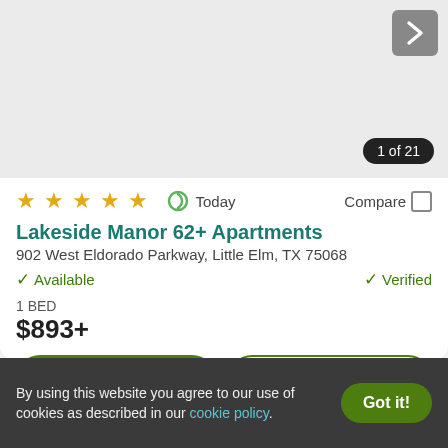[Figure (photo): Apartment property listing image placeholder, light gray background with navigation arrow and image counter badge '1 of 21']
★★★★★  Today  Compare
Lakeside Manor 62+ Apartments
902 West Eldorado Parkway, Little Elm, TX 75068
✓ Available  ✓ Verified
1 BED
$893+
View Details  Contact Property
By using this website you agree to our use of cookies as described in our cookie policy.